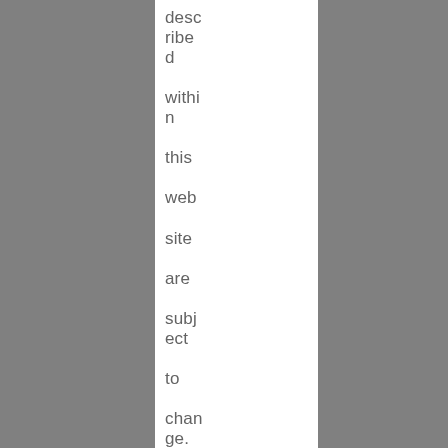described within this website are subject to change. The contents